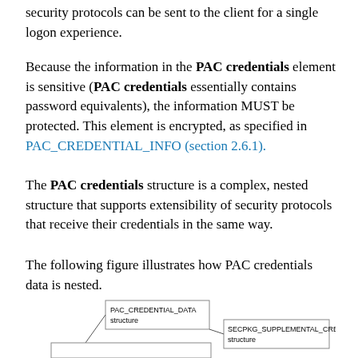security protocols can be sent to the client for a single logon experience.
Because the information in the PAC credentials element is sensitive (PAC credentials essentially contains password equivalents), the information MUST be protected. This element is encrypted, as specified in PAC_CREDENTIAL_INFO (section 2.6.1).
The PAC credentials structure is a complex, nested structure that supports extensibility of security protocols that receive their credentials in the same way.
The following figure illustrates how PAC credentials data is nested.
[Figure (schematic): Nested structure diagram showing PAC_CREDENTIAL_DATA structure containing SECPKG_SUPPLEMENTAL_CRED structure, with boxes connected by lines indicating nesting relationship.]